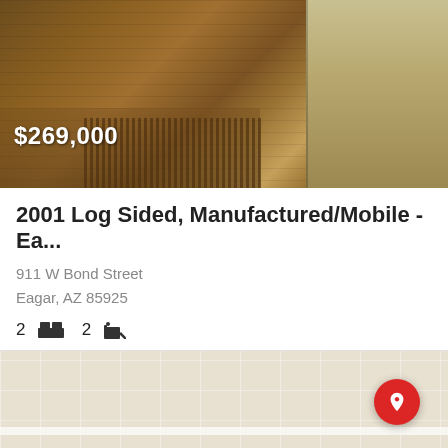[Figure (photo): Exterior photo of a log-sided manufactured/mobile home with a wooden porch and railing; price overlay showing $269,000]
2001 Log Sided, Manufactured/Mobile - Ea...
911 W Bond Street
Eagar, AZ 85925
2 bed  2 bath
[Figure (map): Map view showing property location with a red pin marker and a 'Price Reduced' badge overlay]